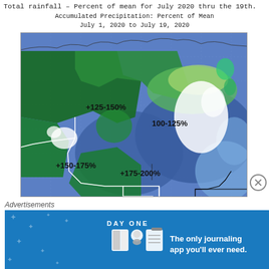Total rainfall – Percent of mean for July 2020 thru the 19th.
[Figure (map): Color-shaded map of accumulated precipitation as percent of mean, July 1–19 2020, showing regions labeled +125-150%, 100-125%, +150-175%, +175-200% in shades of green and blue over what appears to be northern Canada/Alaska region. White outlines show administrative boundaries.]
Accumulated Precipitation: Percent of Mean
July 1, 2020 to July 19, 2020
Advertisements
[Figure (infographic): DAY ONE app advertisement banner: 'The only journaling app you'll ever need.' with illustrated icons of a book, person, and notepad on a blue background with snowflake/star patterns.]